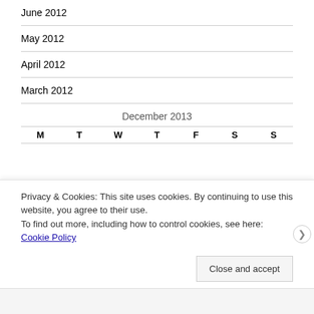June 2012
May 2012
April 2012
March 2012
December 2013
M  T  W  T  F  S  S
Privacy & Cookies: This site uses cookies. By continuing to use this website, you agree to their use.
To find out more, including how to control cookies, see here: Cookie Policy
Close and accept